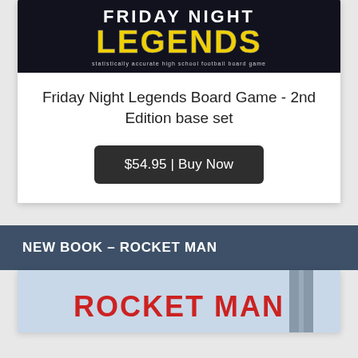[Figure (illustration): Friday Night Legends board game cover image with dark background and yellow text]
Friday Night Legends Board Game - 2nd Edition base set
$54.95 | Buy Now
NEW BOOK – ROCKET MAN
[Figure (illustration): Rocket Man book cover image, partially visible at bottom of page]